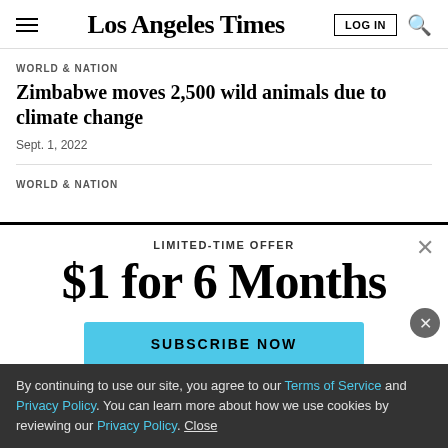Los Angeles Times
WORLD & NATION
Zimbabwe moves 2,500 wild animals due to climate change
Sept. 1, 2022
WORLD & NATION
LIMITED-TIME OFFER
$1 for 6 Months
SUBSCRIBE NOW
By continuing to use our site, you agree to our Terms of Service and Privacy Policy. You can learn more about how we use cookies by reviewing our Privacy Policy. Close